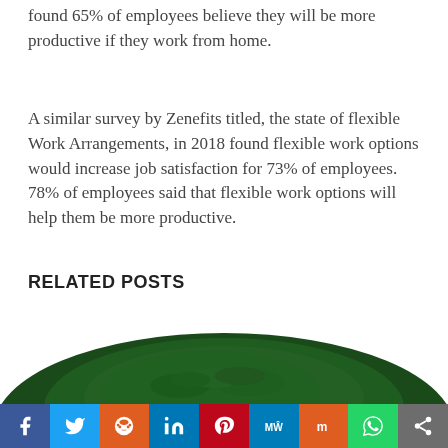found 65% of employees believe they will be more productive if they work from home.
A similar survey by Zenefits titled, the state of flexible Work Arrangements, in 2018 found flexible work options would increase job satisfaction for 73% of employees. 78% of employees said that flexible work options will help them be more productive.
RELATED POSTS
[Figure (photo): A mound of dark green spirulina powder photographed from the side, partially visible at the bottom of the page.]